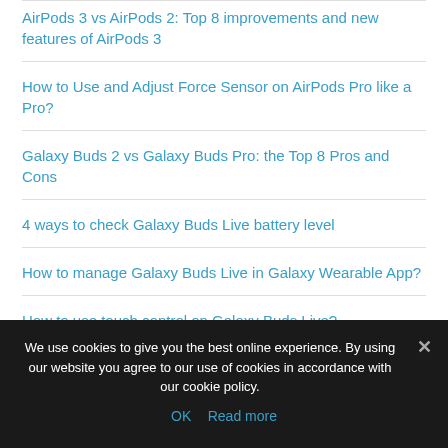AirPods 3 vs AirPods 2: Top 8 improvements and new features of AirPods 3
How to Use and Adjust Force Sensor on AirPods Pro like a Pro?
Galaxy Buds 2 vs Galaxy Buds Pro: the Top 8 Pros and Cons
4 ways to check Galaxy Buds Live battery level
How to manage Galaxy Buds Live in Galaxy Wearable App?
How to use touch control on Galaxy Buds Live?
Layout of Galaxy Buds Live
We use cookies to give you the best online experience. By using our website you agree to our use of cookies in accordance with our cookie policy.
OK  Read more